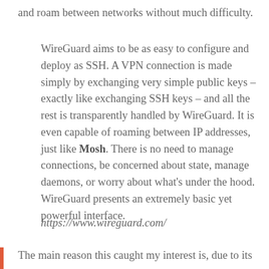and roam between networks without much difficulty.
WireGuard aims to be as easy to configure and deploy as SSH. A VPN connection is made simply by exchanging very simple public keys – exactly like exchanging SSH keys – and all the rest is transparently handled by WireGuard. It is even capable of roaming between IP addresses, just like Mosh. There is no need to manage connections, be concerned about state, manage daemons, or worry about what's under the hood. WireGuard presents an extremely basic yet powerful interface.
https://www.wireguard.com/
The main reason this caught my interest is, due to its